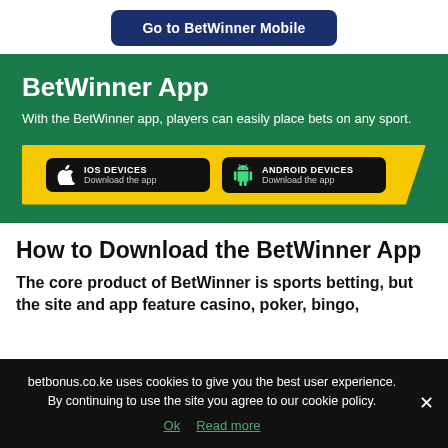Go to BetWinner Mobile
[Figure (infographic): BetWinner App banner with green background showing iOS and Android download buttons on a yellow strip]
How to Download the BetWinner App
The core product of BetWinner is sports betting, but the site and app feature casino, poker, bingo,
betbonus.co.ke uses cookies to give you the best user experience. By continuing to use the site you agree to our cookie policy. Ok  Read more